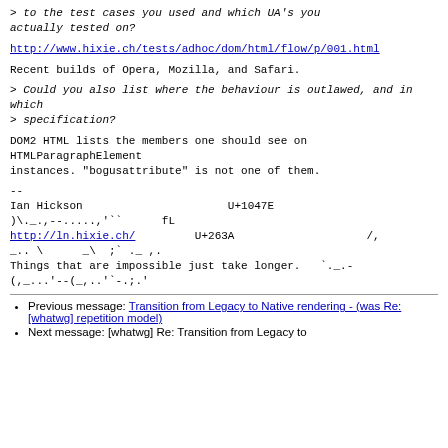> to the test cases you used and which UA's you actually tested on?
http://www.hixie.ch/tests/adhoc/dom/html/flow/p/001.html
Recent builds of Opera, Mozilla, and Safari.
> Could you also list where the behaviour is outlawed, and in which
> specification?
DOM2 HTML lists the members one should see on HTMLParagraphElement instances. "bogusattribute" is not one of them.
--
Ian Hickson                          U+1047E
)\._.,--.....,'``.
http://ln.hixie.ch/         U+263A              /,
_..\      _\  ;`._ ,.
Things that are impossible just take longer.  `._.-
(,_...'--(_,..'`-.;.'
Previous message: Transition from Legacy to Native rendering - (was Re: [whatwg] repetition model)
Next message: [whatwg] Re: Transition from Legacy to